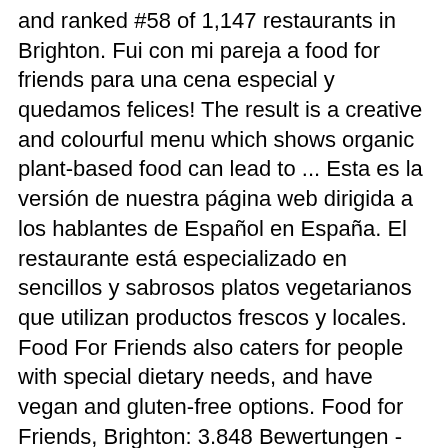and ranked #58 of 1,147 restaurants in Brighton. Fui con mi pareja a food for friends para una cena especial y quedamos felices! The result is a creative and colourful menu which shows organic plant-based food can lead to ... Esta es la versión de nuestra página web dirigida a los hablantes de Español en España. El restaurante está especializado en sencillos y sabrosos platos vegetarianos que utilizan productos frescos y locales. Food For Friends also caters for people with special dietary needs, and have vegan and gluten-free options. Food for Friends, Brighton: 3.848 Bewertungen - bei Tripadvisor auf Platz 59 von 1.145 von 1.145 Brighton Restaurants; mit 4,5/5 von Reisenden bewertet. Our relaxed and attentive atmosphere will ensure you'll be welcomed as a guest, but will leave as a friend. They have so many delicious vegan bites whereas the large plates are a bit limited for vegan options and those that are vegan seem quite basic. We also serve the best organic and locally produced coffee from WULFØX COFFEE. The restaurant has secured a place in The Good Food Guide 2016 and also won the Brighton and Hove Foodie ... Try our sister restaurant